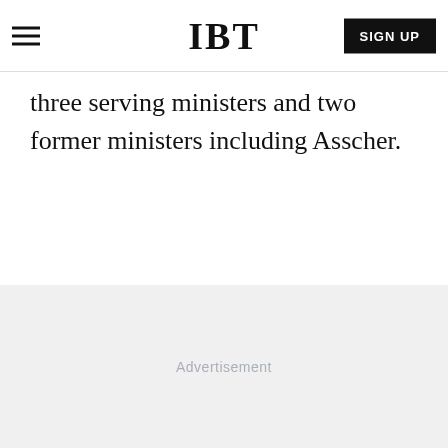IBT | SIGN UP
three serving ministers and two former ministers including Asscher.
Advertisement